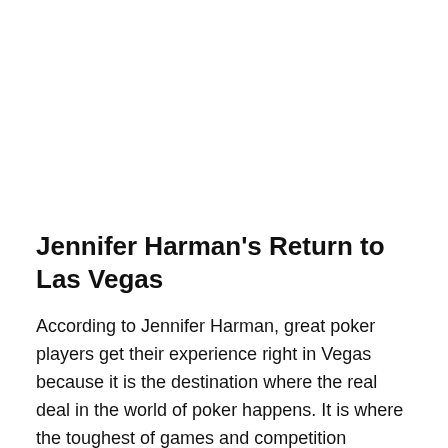Jennifer Harman's Return to Las Vegas
According to Jennifer Harman, great poker players get their experience right in Vegas because it is the destination where the real deal in the world of poker happens. It is where the toughest of games and competition flourish. For many years after returning to poker, she remained in the middle limit games. She sometimes aimed at higher stakes of $50 to $100